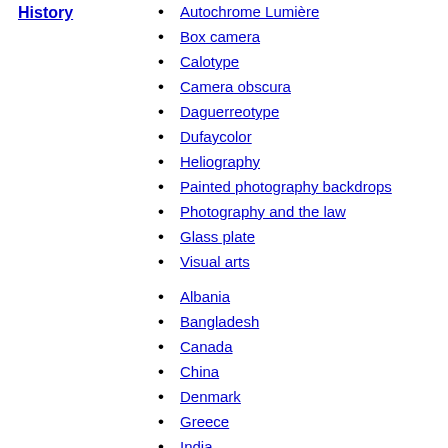History
Autochrome Lumière
Box camera
Calotype
Camera obscura
Daguerreotype
Dufaycolor
Heliography
Painted photography backdrops
Photography and the law
Glass plate
Visual arts
Regional
Albania
Bangladesh
Canada
China
Denmark
Greece
India
Japan
Korea
Luxembourg
Norway
Philippines
Serbia